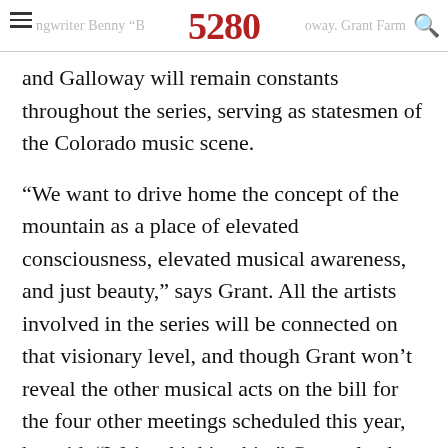5280
and Galloway will remain constants throughout the series, serving as statesmen of the Colorado music scene.
“We want to drive home the concept of the mountain as a place of elevated consciousness, elevated musical awareness, and just beauty,” says Grant. All the artists involved in the series will be connected on that visionary level, and though Grant won’t reveal the other musical acts on the bill for the four other meetings scheduled this year, he said, “We’re thinking big.” Grant also has a